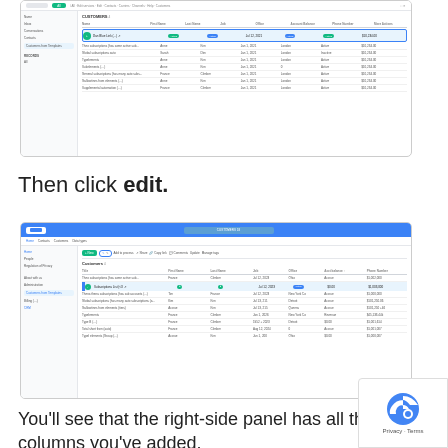[Figure (screenshot): Screenshot of a customer list interface with a selected row (highlighted in blue), showing columns like Name, First Name, Last Name, Job, Office, Account Balance, Phone Number, and More Actions. A row is highlighted.]
Then click edit.
[Figure (screenshot): Screenshot of the same customer list interface with the edit toolbar visible. The edit button area is highlighted with a blue cursor icon. The toolbar shows options including New, Edit, Add to process, Share, Copy link, Comments, Update, and Manage tags.]
You'll see that the right-side panel has all the columns you've added.